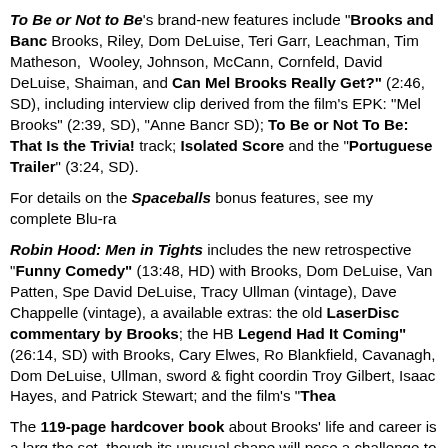To Be or Not to Be's brand-new features include "Brooks and Banc... Brooks, Riley, Dom DeLuise, Teri Garr, Leachman, Tim Matheson, ... Wooley, Johnson, McCann, Cornfeld, David DeLuise, Shaiman, and ... Can Mel Brooks Really Get?" (2:46, SD), including interview clip... derived from the film's EPK: "Mel Brooks" (2:39, SD), "Anne Bancr... SD); To Be or Not To Be: That Is the Trivia! track; Isolated Score... and the "Portuguese Trailer" (3:24, SD).
For details on the Spaceballs bonus features, see my complete Blu-ra...
Robin Hood: Men in Tights includes the new retrospective "Funny... Comedy" (13:48, HD) with Brooks, Dom DeLuise, Van Patten, Spe... David DeLuise, Tracy Ullman (vintage), Dave Chappelle (vintage), a... available extras: the old LaserDisc commentary by Brooks; the HB... Legend Had It Coming" (26:14, SD) with Brooks, Cary Elwes, Ro... Blankfield, Cavanagh, Dom DeLuise, Ullman, sword & fight coordin... Troy Gilbert, Isaac Hayes, and Patrick Stewart; and the film's "Thea...
The 119-page hardcover book about Brooks' life and career is a larg... the set, though its unusual shape will pose a challenge to collectors (... the Apes set from Fox—presumably collectors will eventually have a... flimsy book holding the discs in cardboard sleeves. Though the discs... have already fallen apart on me—time for some rubber cement.
All in all, this is a wonderful gift to Brooks fans — now only The Br...